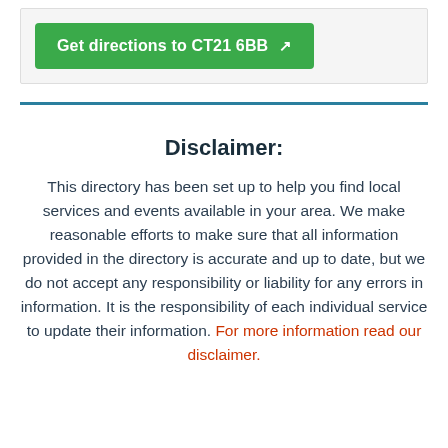Get directions to CT21 6BB ↗
Disclaimer:
This directory has been set up to help you find local services and events available in your area. We make reasonable efforts to make sure that all information provided in the directory is accurate and up to date, but we do not accept any responsibility or liability for any errors in information. It is the responsibility of each individual service to update their information. For more information read our disclaimer.